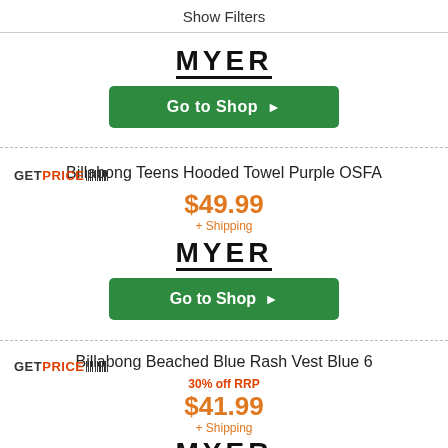Show Filters
[Figure (logo): MYER logo with underline]
Go to Shop ▶
Billabong Teens Hooded Towel Purple OSFA
[Figure (logo): GETPRICE barcode logo]
$49.99
+ Shipping
[Figure (logo): MYER logo with underline]
Go to Shop ▶
Billabong Beached Blue Rash Vest Blue 6
[Figure (logo): GETPRICE barcode logo]
30% off RRP
$41.99
+ Shipping
[Figure (logo): MYER logo with underline]